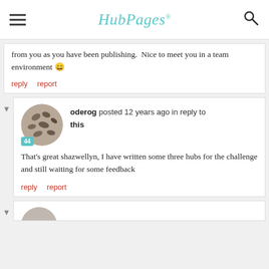HubPages
from you as you have been publishing.  Nice to meet you in a team environment 😄
reply   report
oderog posted 12 years ago in reply to this
That's great shazwellyn, I have written some three hubs for the challenge and still waiting for some feedback
reply   report